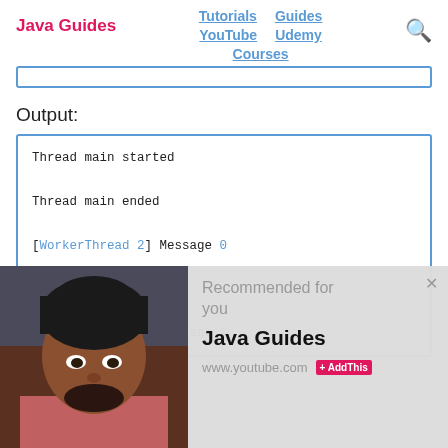Java Guides | Tutorials | Guides | YouTube | Udemy | Courses
Output:
[Figure (screenshot): Code output box showing thread execution output: Thread main started, Thread main ended, [WorkerThread 2] Message 0, [Thread-1] Message 0, [WorkerThread 2] Message 1]
[Figure (photo): Overlay popup showing a photo of a man and a recommendation card for Java Guides with www.youtube.com and AddThis badge]